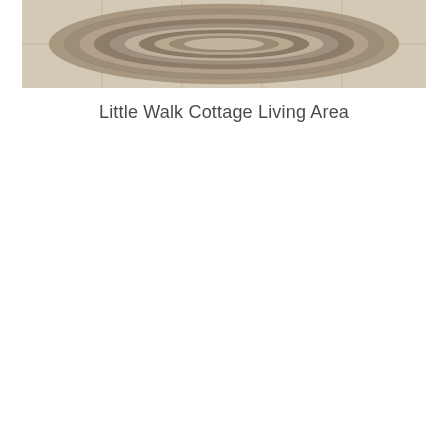[Figure (photo): An oval braided rug in natural tan and brown tones lying on light beige/cream tile flooring, photographed from above. The rug has concentric oval rings in earthy colors.]
Little Walk Cottage Living Area